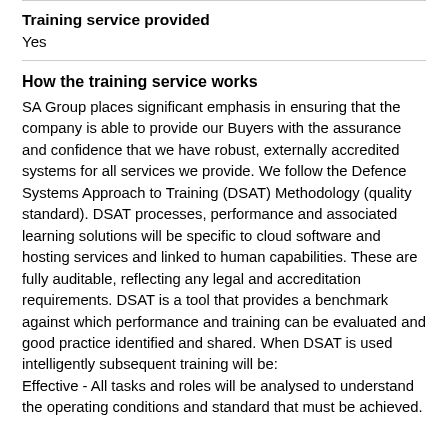Training service provided
Yes
How the training service works
SA Group places significant emphasis in ensuring that the company is able to provide our Buyers with the assurance and confidence that we have robust, externally accredited systems for all services we provide. We follow the Defence Systems Approach to Training (DSAT) Methodology (quality standard). DSAT processes, performance and associated learning solutions will be specific to cloud software and hosting services and linked to human capabilities. These are fully auditable, reflecting any legal and accreditation requirements. DSAT is a tool that provides a benchmark against which performance and training can be evaluated and good practice identified and shared. When DSAT is used intelligently subsequent training will be:
Effective - All tasks and roles will be analysed to understand the operating conditions and standard that must be achieved.